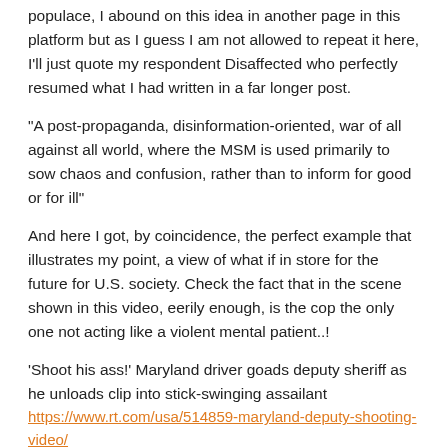populace, I abound on this idea in another page in this platform but as I guess I am not allowed to repeat it here, I'll just quote my respondent Disaffected who perfectly resumed what I had written in a far longer post.
"A post-propaganda, disinformation-oriented, war of all against all world, where the MSM is used primarily to sow chaos and confusion, rather than to inform for good or for ill"
And here I got, by coincidence, the perfect example that illustrates my point, a view of what if in store for the future for U.S. society. Check the fact that in the scene shown in this video, eerily enough, is the cop the only one not acting like a violent mental patient..!
'Shoot his ass!' Maryland driver goads deputy sheriff as he unloads clip into stick-swinging assailant
https://www.rt.com/usa/514859-maryland-deputy-shooting-video/
Reply
Disaffected   on February 07, 2021  ·  at 6:09 pm EST/EDT
Yep, I have to agree once more.